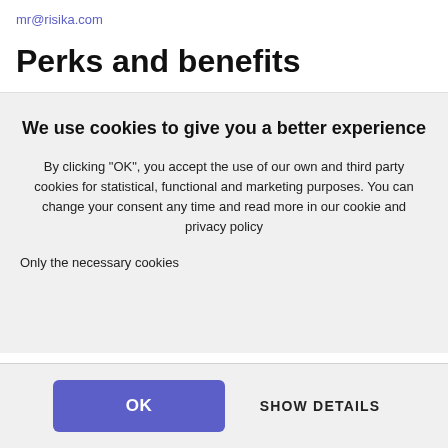mr@risika.com
Perks and benefits
We use cookies to give you a better experience
By clicking "OK", you accept the use of our own and third party cookies for statistical, functional and marketing purposes. You can change your consent any time and read more in our cookie and privacy policy
Only the necessary cookies
OK
SHOW DETAILS